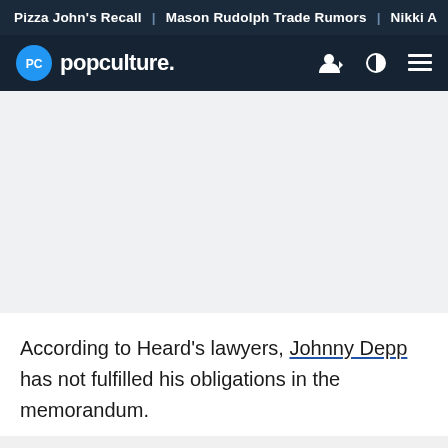Pizza John's Recall | Mason Rudolph Trade Rumors | Nikki A
popculture.
According to Heard's lawyers, Johnny Depp has not fulfilled his obligations in the memorandum.